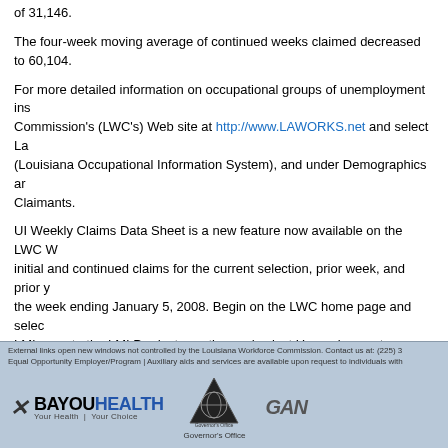of 31,146.
The four-week moving average of continued weeks claimed decreased to 60,104.
For more detailed information on occupational groups of unemployment insurance claimants, visit the Louisiana Workforce Commission's (LWC's) Web site at http://www.LAWORKS.net and select LOIS (Louisiana Occupational Information System), and under Demographics and select Unemployment Insurance Claimants.
UI Weekly Claims Data Sheet is a new feature now available on the LWC Web site. It provides data on initial and continued claims for the current selection, prior week, and prior year. Data is currently available for the week ending January 5, 2008. Begin on the LWC home page and select LMI. Then navigate on the LMI page to the LMI Products section and select Unemployment Insurance.
Note: This revision date does not reflect the revision date of the press release shown. Please note the data may not be considered accurate as shown.
External links open new windows not controlled by the Louisiana Workforce Commission. Contact us at: (225) 3... Equal Opportunity Employer/Program | Auxiliary aids and services are available upon request to individuals with...